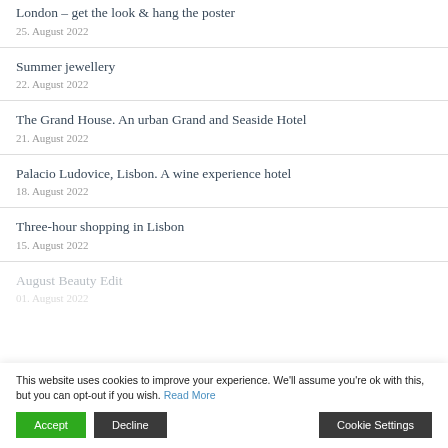London – get the look & hang the poster
25. August 2022
Summer jewellery
22. August 2022
The Grand House. An urban Grand and Seaside Hotel
21. August 2022
Palacio Ludovice, Lisbon. A wine experience hotel
18. August 2022
Three-hour shopping in Lisbon
15. August 2022
August Beauty Edit
01. August 2022
This website uses cookies to improve your experience. We'll assume you're ok with this, but you can opt-out if you wish. Read More
Accept | Decline | Cookie Settings